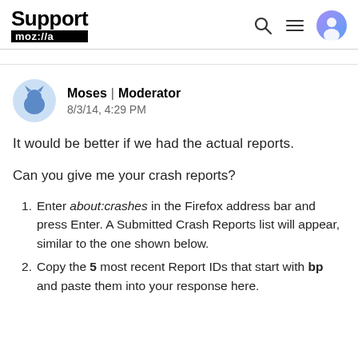Support mozilla | (search icon) (menu icon) (user icon)
[Figure (illustration): Mozilla Support page header with 'Support' logo in bold, 'moz://a' badge in black, and navigation icons (search, menu, user avatar) on the right]
Moses | Moderator
8/3/14, 4:29 PM
It would be better if we had the actual reports.
Can you give me your crash reports?
Enter about:crashes in the Firefox address bar and press Enter. A Submitted Crash Reports list will appear, similar to the one shown below.
Copy the 5 most recent Report IDs that start with bp and paste them into your response here.